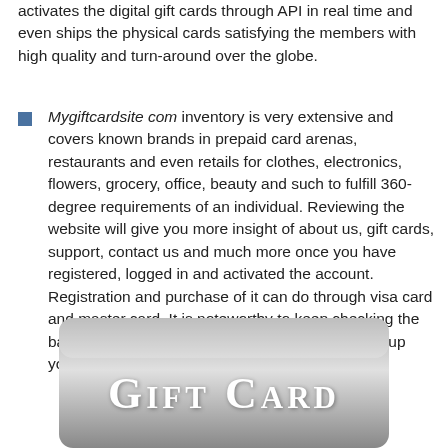activates the digital gift cards through API in real time and even ships the physical cards satisfying the members with high quality and turn-around over the globe.
Mygiftcardsite com inventory is very extensive and covers known brands in prepaid card arenas, restaurants and even retails for clothes, electronics, flowers, grocery, office, beauty and such to fulfill 360-degree requirements of an individual. Reviewing the website will give you more insight of about us, gift cards, support, contact us and much more once you have registered, logged in and activated the account. Registration and purchase of it can do through visa card and master card. It is noteworthy to keep checking the balance after every buying for surety and to ease up your calculations.
[Figure (illustration): A gift card with gradient gray background and text 'GIFT CARD' in white serif capital letters with small caps styling]